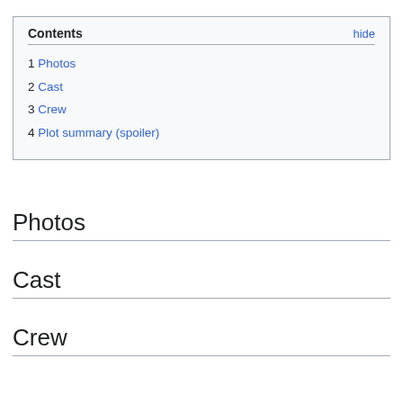| 1 | Photos |
| 2 | Cast |
| 3 | Crew |
| 4 | Plot summary (spoiler) |
Photos
Cast
Crew